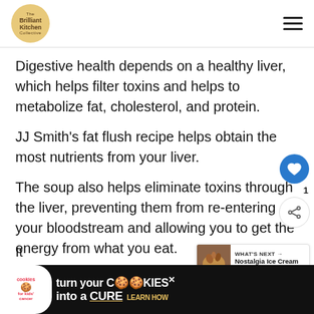Brilliant Kitchen
Digestive health depends on a healthy liver, which helps filter toxins and helps to metabolize fat, cholesterol, and protein.
JJ Smith's fat flush recipe helps obtain the most nutrients from your liver.
The soup also helps eliminate toxins through the liver, preventing them from re-entering your bloodstream and allowing you to get the energy from what you eat.
It
[Figure (screenshot): Advertisement banner: cookies for kids cancer - turn your cookies into a cure learn how]